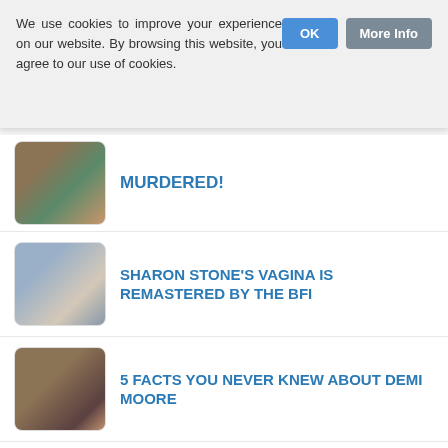We use cookies to improve your experience on our website. By browsing this website, you agree to our use of cookies.
MURDERED!
SHARON STONE'S VAGINA IS REMASTERED BY THE BFI
5 FACTS YOU NEVER KNEW ABOUT DEMI MOORE
WHERE EAGLES DARE REMAKE RELEASE PUSHED TO 2021
TERRENCE MALICK TALKS HATS